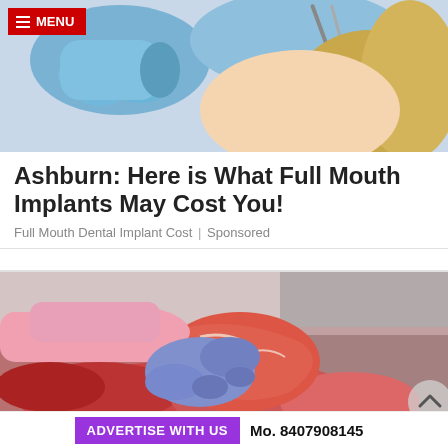[Figure (photo): Close-up of a dental procedure: gloved hands in blue latex gloves holding dental instruments near a patient's mouth with blonde hair visible]
Ashburn: Here is What Full Mouth Implants May Cost You!
Full Mouth Dental Implant Cost | Sponsored
[Figure (photo): A butcher in pink top with blue latex gloves handling a large cut of raw red meat at a meat counter/display case]
ADVERTISE WITH US   Mo. 8407908145